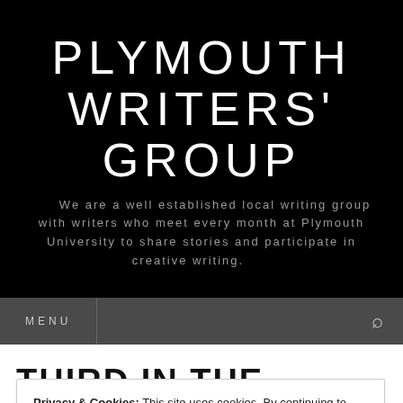PLYMOUTH WRITERS' GROUP
We are a well established local writing group with writers who meet every month at Plymouth University to share stories and participate in creative writing.
MENU
THIRD IN THE PLYMOUTH
Privacy & Cookies: This site uses cookies. By continuing to use this website, you agree to their use.
To find out more, including how to control cookies, see here: Cookie Policy
Close and accept